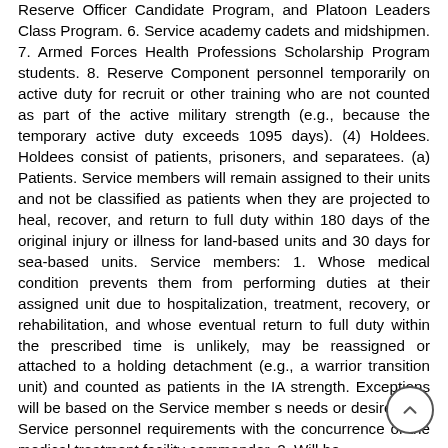Reserve Officer Candidate Program, and Platoon Leaders Class Program. 6. Service academy cadets and midshipmen. 7. Armed Forces Health Professions Scholarship Program students. 8. Reserve Component personnel temporarily on active duty for recruit or other training who are not counted as part of the active military strength (e.g., because the temporary active duty exceeds 1095 days). (4) Holdees. Holdees consist of patients, prisoners, and separatees. (a) Patients. Service members will remain assigned to their units and not be classified as patients when they are projected to heal, recover, and return to full duty within 180 days of the original injury or illness for land-based units and 30 days for sea-based units. Service members: 1. Whose medical condition prevents them from performing duties at their assigned unit due to hospitalization, treatment, recovery, or rehabilitation, and whose eventual return to full duty within the prescribed time is unlikely, may be reassigned or attached to a holding detachment (e.g., a warrior transition unit) and counted as patients in the IA strength. Exceptions will be based on the Service member s needs or desires and Service personnel requirements with the concurrence of the medical treatment facility commander. 2. Will be